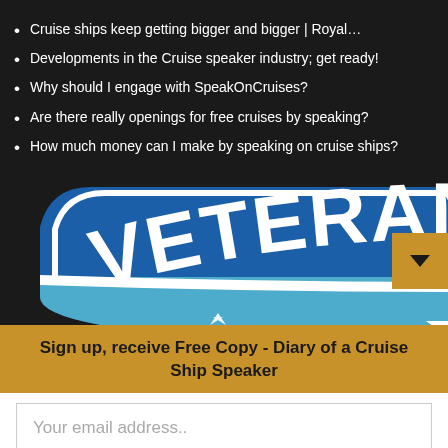Cruise ships keep getting bigger and bigger | Royal…
Developments in the Cruise speaker industry; get ready!
Why should I engage with SpeakOnCruises?
Are there really openings for free cruises by speaking?
How much money can I make by speaking on cruise ships?
[Figure (logo): Veteran-Owned badge/shield logo in blue with white text reading VETERAN-OWNED arched across the top, with stars below on a lighter blue background]
Sign up, receive Free Copy - Diary of a Cruise Ship Speaker
Your email address..
SUBSCRIBE